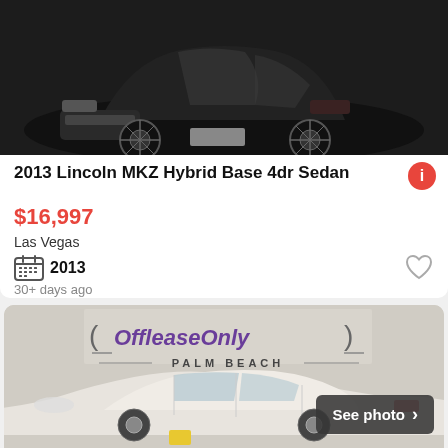[Figure (photo): Dark black 2013 Lincoln MKZ Hybrid sedan, front three-quarter view on white background]
2013 Lincoln MKZ Hybrid Base 4dr Sedan
$16,997
Las Vegas
2013
30+ days ago
[Figure (photo): White sedan displayed at OffleaseOnly Palm Beach dealership, side view, with 'See photo' button overlay]